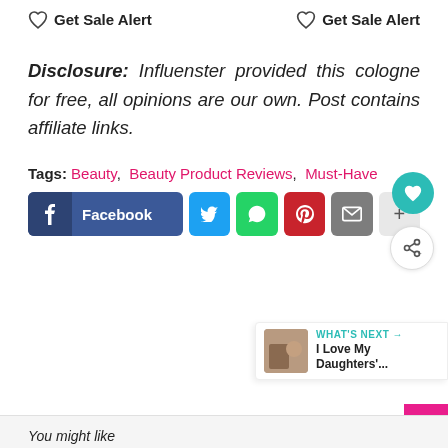♡ Get Sale Alert   ♡ Get Sale Alert
Disclosure: Influenster provided this cologne for free, all opinions are our own. Post contains affiliate links.
Tags: Beauty, Beauty Product Reviews, Must-Have
Facebook  [Twitter] [WhatsApp] [Pinterest] [Email] [+]
WHAT'S NEXT → I Love My Daughters'...
You might like